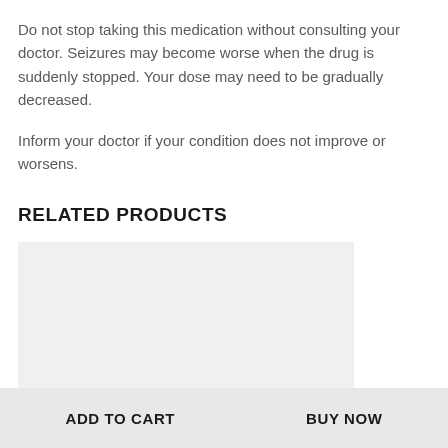Do not stop taking this medication without consulting your doctor. Seizures may become worse when the drug is suddenly stopped. Your dose may need to be gradually decreased.
Inform your doctor if your condition does not improve or worsens.
RELATED PRODUCTS
[Figure (other): Light gray placeholder box for a related product image]
ADD TO CART
BUY NOW